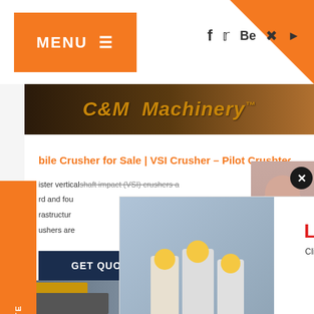[Figure (screenshot): Website screenshot of C&M Machinery / Pilot Crushtec VSI Crusher page with navigation header, live chat popup, and sidebar widgets]
MENU ≡
bile Crusher for Sale | VSI Crusher - Pilot Crushtec
ister vertical shaft impact (VSI) crushers a...
rd and fou...
rastructur...
ushers are...
GET QUOTE
LIVE CHAT
Click for a Free Consultation
Chat now
Chat later
Have any requests, click here.
Quota
Enquiry
drobilkalm